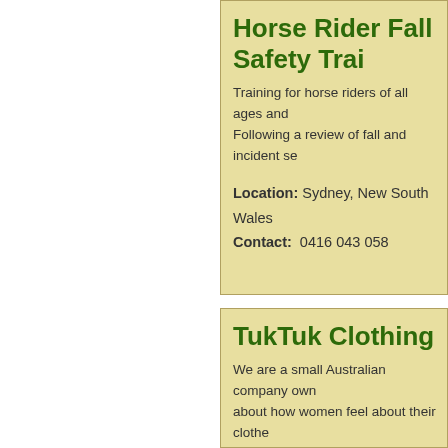Horse Rider Fall Safety Trai...
Training for horse riders of all ages and Following a review of fall and incident se...
Location: Sydney, New South Wales
Contact: 0416 043 058
TukTuk Clothing
We are a small Australian company own about how women feel about their clothe scratch based o...
Location: Beechworth, Victoria
Contact: 03 5728 2896